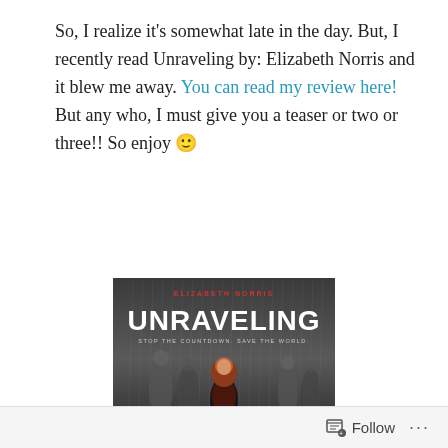So, I realize it's somewhat late in the day. But, I recently read Unraveling by: Elizabeth Norris and it blew me away. You can read my review here! But any who, I must give you a teaser or two or three!! So enjoy 🙂
[Figure (photo): Book cover of 'Unraveling' by Elizabeth Norris. Shows the title 'UNRAVELING' in large white letters, author name 'ELIZABETH NORRIS' in red at top, subtitle 'STOP THE COUNTDOWN. SAVE THE WORLD.' below title. Several young people standing in a foggy/rainy scene, central figure is a girl in red top and black jacket.]
Follow ···